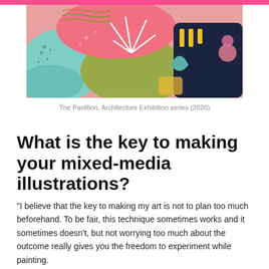[Figure (illustration): Colorful mixed-media illustration showing abstract shapes in pink, teal, olive green, and dark blue/navy, with decorative patterns and floral elements]
The Pavillion, Architecture Exhibition series (2020)
What is the key to making your mixed-media illustrations?
"I believe that the key to making my art is not to plan too much beforehand. To be fair, this technique sometimes works and it sometimes doesn't, but not worrying too much about the outcome really gives you the freedom to experiment while painting.